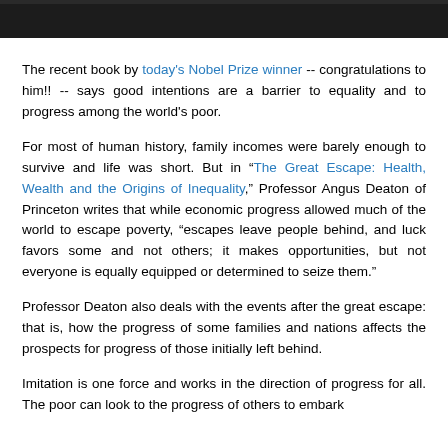[Figure (photo): Dark photo strip at the top of the page, appears to be a cropped group photo with dark background]
The recent book by today's Nobel Prize winner -- congratulations to him!! -- says good intentions are a barrier to equality and to progress among the world's poor.
For most of human history, family incomes were barely enough to survive and life was short. But in “The Great Escape: Health, Wealth and the Origins of Inequality,” Professor Angus Deaton of Princeton writes that while economic progress allowed much of the world to escape poverty, “escapes leave people behind, and luck favors some and not others; it makes opportunities, but not everyone is equally equipped or determined to seize them.”
Professor Deaton also deals with the events after the great escape: that is, how the progress of some families and nations affects the prospects for progress of those initially left behind.
Imitation is one force and works in the direction of progress for all. The poor can look to the progress of others to embark...